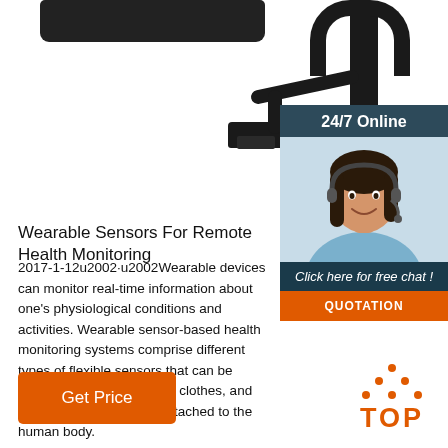[Figure (photo): USB device and cable on white background, product photo]
[Figure (photo): Online chat panel showing '24/7 Online' header, woman with headset, 'Click here for free chat!' text and QUOTATION button]
Wearable Sensors For Remote Health Monitoring
2017-1-12u2002·u2002Wearable devices can monitor real-time information about one's physiological conditions and activities. Wearable sensor-based health monitoring systems comprise different types of flexible sensors that can be integrated into textile fiber, clothes, and elastic bands or directly attached to the human body.
[Figure (other): Get Price orange button]
[Figure (other): TOP badge with orange dots arranged in triangle above TOP text]